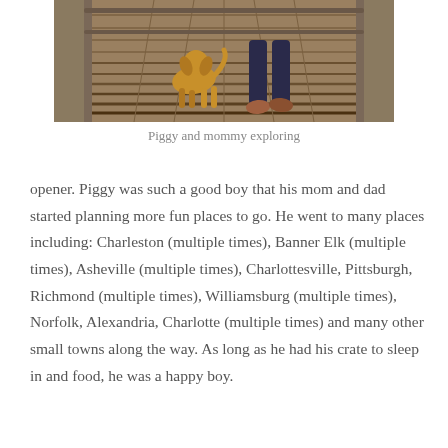[Figure (photo): A dog and a person walking away on a wooden boardwalk, viewed from behind. The dog appears to be a golden/tan colored dog on the left, and the person is wearing dark pants and colorful shoes on the right.]
Piggy and mommy exploring
opener. Piggy was such a good boy that his mom and dad started planning more fun places to go. He went to many places including: Charleston (multiple times), Banner Elk (multiple times), Asheville (multiple times), Charlottesville, Pittsburgh, Richmond (multiple times), Williamsburg (multiple times), Norfolk, Alexandria, Charlotte (multiple times) and many other small towns along the way. As long as he had his crate to sleep in and food, he was a happy boy.